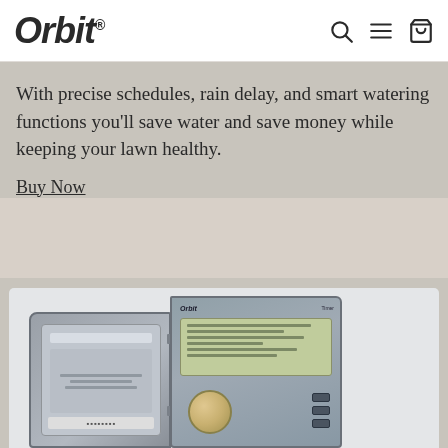Orbit
With precise schedules, rain delay, and smart watering functions you’ll save water and save money while keeping your lawn healthy.
Buy Now
[Figure (photo): Orbit sprinkler irrigation controller shown open with display panel and dial, mounted on neutral background]